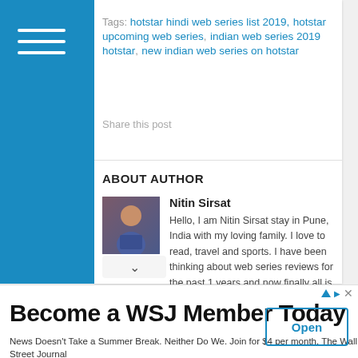Tags: hotstar hindi web series list 2019, hotstar upcoming web series, indian web series 2019 hotstar, new indian web series on hotstar
Share this post
ABOUT AUTHOR
Nitin Sirsat
Hello, I am Nitin Sirsat stay in Pune, India with my loving family. I love to read, travel and sports. I have been thinking about web series reviews for the past 1 years and now finally all is set to start my Web Series Reviews Blog. Offers you a detailed review of all the new web series so that you can save your time for hunting a
Become a WSJ Member Today
News Doesn't Take a Summer Break. Neither Do We. Join for $4 per month. The Wall Street Journal
Open